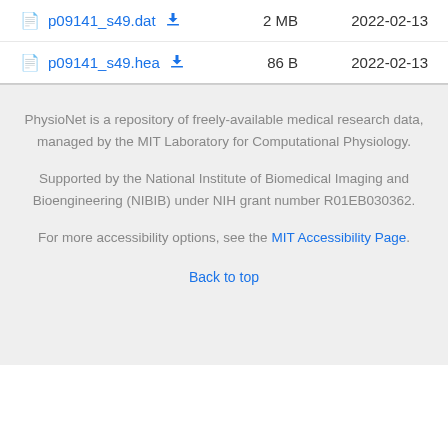p09141_s49.dat  2 MB  2022-02-13
p09141_s49.hea  86 B  2022-02-13
PhysioNet is a repository of freely-available medical research data, managed by the MIT Laboratory for Computational Physiology.
Supported by the National Institute of Biomedical Imaging and Bioengineering (NIBIB) under NIH grant number R01EB030362.
For more accessibility options, see the MIT Accessibility Page.
Back to top